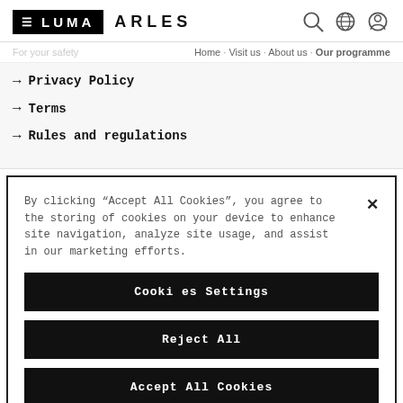≡ LUMA  ARLES
Home · Visit us · About us · Our programme
→ Privacy Policy
→ Terms
→ Rules and regulations
By clicking "Accept All Cookies", you agree to the storing of cookies on your device to enhance site navigation, analyze site usage, and assist in our marketing efforts.
Cookies Settings
Reject All
Accept All Cookies